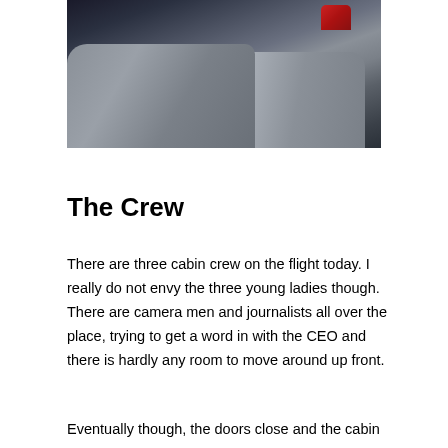[Figure (photo): A photo showing legs/knees of a person seated in an airplane, with dark blue seat fabric visible in the background and a red object partially visible at the top right.]
The Crew
There are three cabin crew on the flight today. I really do not envy the three young ladies though. There are camera men and journalists all over the place, trying to get a word in with the CEO and there is hardly any room to move around up front.
Eventually though, the doors close and the cabin